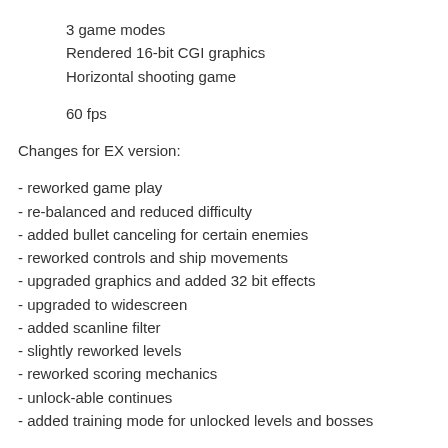3 game modes
Rendered 16-bit CGI graphics
Horizontal shooting game
60 fps
Changes for EX version:
- reworked game play
- re-balanced and reduced difficulty
- added bullet canceling for certain enemies
- reworked controls and ship movements
- upgraded graphics and added 32 bit effects
- upgraded to widescreen
- added scanline filter
- slightly reworked levels
- reworked scoring mechanics
- unlock-able continues
- added training mode for unlocked levels and bosses